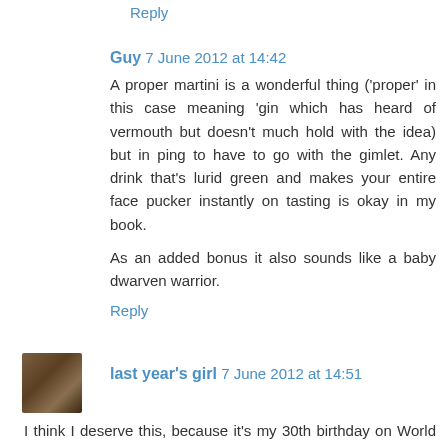Reply
Guy 7 June 2012 at 14:42
A proper martini is a wonderful thing ('proper' in this case meaning 'gin which has heard of vermouth but doesn't much hold with the idea) but in ping to have to go with the gimlet. Any drink that's lurid green and makes your entire face pucker instantly on tasting is okay in my book.
As an added bonus it also sounds like a baby dwarven warrior.
Reply
last year's girl 7 June 2012 at 14:51
I think I deserve this, because it's my 30th birthday on World Gin Day. Who needs a cocktail?!
Also, did you SEE that recipe for gin and tonic ice cream on BUST?       http://bust.com/blog/gin-and-tonic-ice-cream-